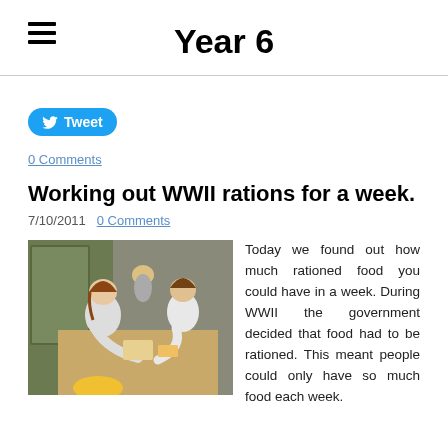Year 6
Tweet
0 Comments
Working out WWII rations for a week.
7/10/2011  0 Comments
[Figure (photo): Children (pupils) leaning over a table working together on an activity in a classroom setting, viewed from above.]
Today we found out how much rationed food you could have in a week. During WWII the government decided that food had to be rationed. This meant people could only have so much food each week.